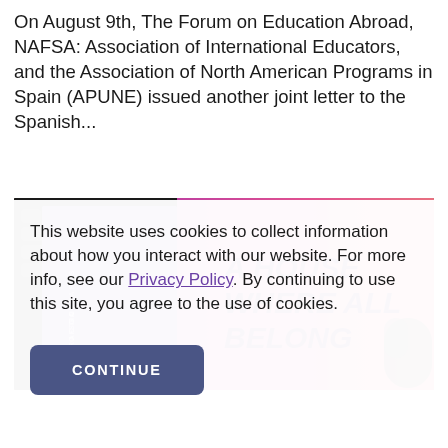On August 9th, The Forum on Education Abroad, NAFSA: Association of International Educators, and the Association of North American Programs in Spain (APUNE) issued another joint letter to the Spanish...
[Figure (photo): Photo showing a keyboard, a purple book labeled 'Standards of Good Practice', and a pink/magenta book with text 'A HOUSE WHERE ALL BELONG', with a computer mouse visible at the right]
This website uses cookies to collect information about how you interact with our website. For more info, see our Privacy Policy. By continuing to use this site, you agree to the use of cookies.